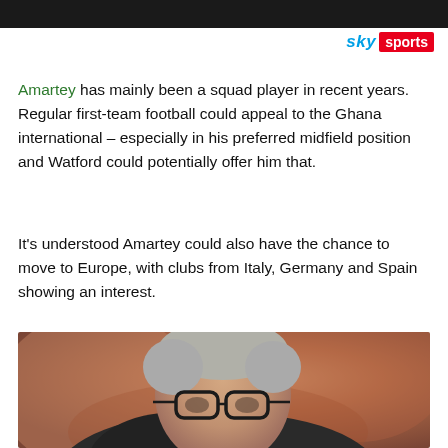[header bar image]
[Figure (logo): Sky Sports logo — 'sky' in blue italic text followed by 'sports' in white text on red badge]
Amartey has mainly been a squad player in recent years. Regular first-team football could appeal to the Ghana international – especially in his preferred midfield position and Watford could potentially offer him that.
It's understood Amartey could also have the chance to move to Europe, with clubs from Italy, Germany and Spain showing an interest.
[Figure (photo): An elderly man with silver/grey hair and black-rimmed glasses, wearing a dark jacket, looking upward slightly. Blurred orange/red bokeh background suggesting a sports stadium.]